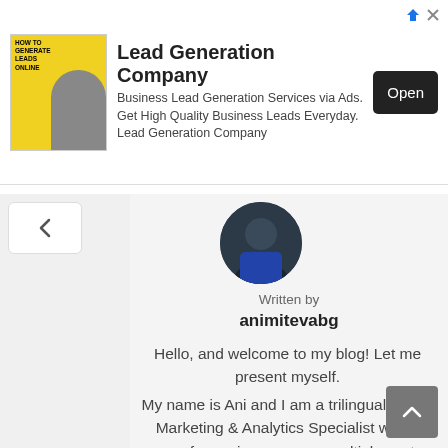[Figure (screenshot): Ad banner for Lead Generation Company with yellow book cover image, text, and dark Open button]
Lead Generation Company
Business Lead Generation Services via Ads. Get High Quality Business Leads Everyday. Lead Generation Company
[Figure (photo): Circular profile photo of blog author animitevabg]
Written by
animitevabg
Hello, and welcome to my blog! Let me present myself.
My name is Ani and I am a trilingual Digital Marketing & Analytics Specialist with 5 years of experience across multiple sectors including Cloud-based services, SaaS, Digital payments, Mobile apps, and Executive Education, among others.
My expertise covers areas such as Google Ads, Google Analytics, Search Engine